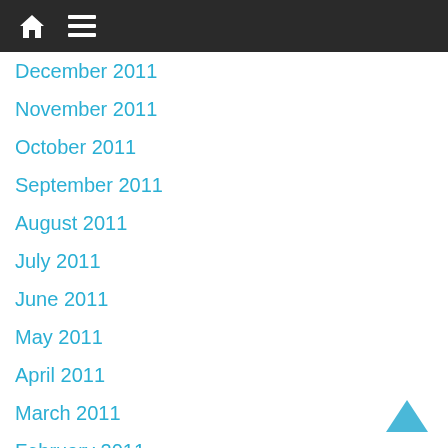Navigation header with home and menu icons
December 2011
November 2011
October 2011
September 2011
August 2011
July 2011
June 2011
May 2011
April 2011
March 2011
February 2011
January 2011
December 2010
November 2010
October 2010
September 2010